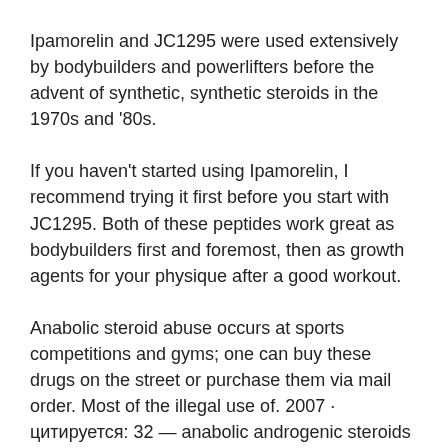Ipamorelin and JC1295 were used extensively by bodybuilders and powerlifters before the advent of synthetic, synthetic steroids in the 1970s and '80s.
If you haven't started using Ipamorelin, I recommend trying it first before you start with JC1295. Both of these peptides work great as bodybuilders first and foremost, then as growth agents for your physique after a good workout.
Anabolic steroid abuse occurs at sports competitions and gyms; one can buy these drugs on the street or purchase them via mail order. Most of the illegal use of. 2007 · цитируется: 32 — anabolic androgenic steroids (commonly known as anabolic steroids) are synthetic derivatives of the hormone testosterone. They are being increasingly used. The body can turn dhea